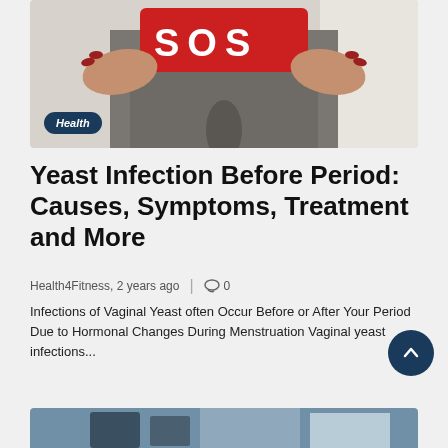[Figure (photo): Person holding a red SOS sign in front of their midsection wearing grey leggings, with a 'Health' category badge overlaid in bottom left]
Yeast Infection Before Period: Causes, Symptoms, Treatment and More
Health4Fitness, 2 years ago | 0
Infections of Vaginal Yeast often Occur Before or After Your Period Due to Hormonal Changes During Menstruation Vaginal yeast infections...
[Figure (photo): Partial view of a second article image at the bottom of the page]